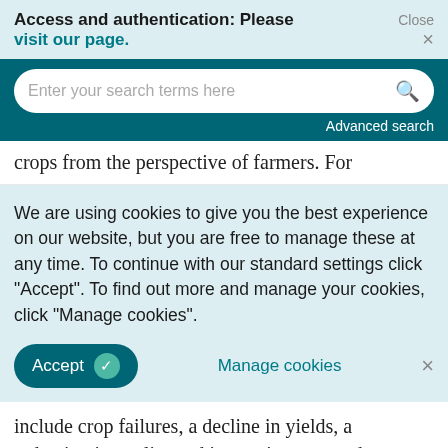Access and authentication: Please visit our page.
Close ×
Enter your search terms here
Advanced search
crops from the perspective of farmers. For
We are using cookies to give you the best experience on our website, but you are free to manage these at any time. To continue with our standard settings click "Accept". To find out more and manage your cookies, click "Manage cookies".
Accept ✓   Manage cookies  ×
include crop failures, a decline in yields, a reduction in quality and increasing pest and